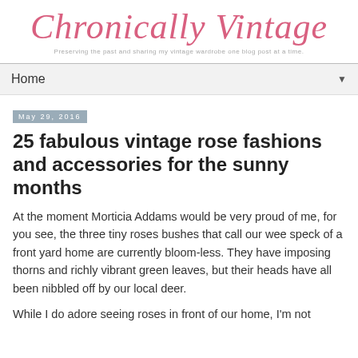Chronically Vintage
Preserving the past and sharing my vintage wardrobe one blog post at a time.
Home ▼
May 29, 2016
25 fabulous vintage rose fashions and accessories for the sunny months
At the moment Morticia Addams would be very proud of me, for you see, the three tiny roses bushes that call our wee speck of a front yard home are currently bloom-less. They have imposing thorns and richly vibrant green leaves, but their heads have all been nibbled off by our local deer.
While I do adore seeing roses in front of our home, I'm not